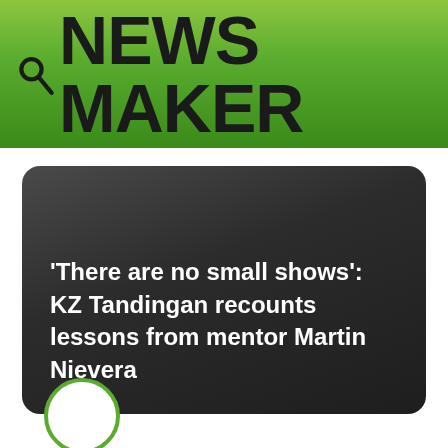NEWS MAKER
'There are no small shows': KZ Tandingan recounts lessons from mentor Martin Nievera